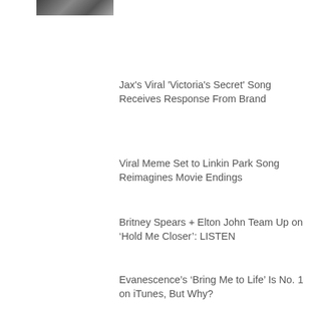[Figure (photo): Small thumbnail image of a person, cropped at top of page]
Jax's Viral 'Victoria's Secret' Song Receives Response From Brand
Viral Meme Set to Linkin Park Song Reimagines Movie Endings
Britney Spears + Elton John Team Up on ‘Hold Me Closer’: LISTEN
Evanescence’s ‘Bring Me to Life’ Is No. 1 on iTunes, But Why?